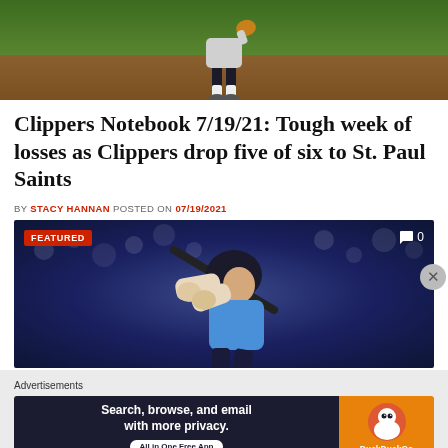[Figure (photo): Baseball player standing on field with green grass and dirt infield visible]
Clippers Notebook 7/19/21: Tough week of losses as Clippers drop five of six to St. Paul Saints
BY STACY HANNAN POSTED ON 07/19/2021
[Figure (photo): Baseball batter mid-swing wearing helmet, with FEATURED badge and comment count 0 shown]
Advertisements
[Figure (screenshot): DuckDuckGo advertisement: Search, browse, and email with more privacy. All in One Free App. DuckDuckGo logo on orange background.]